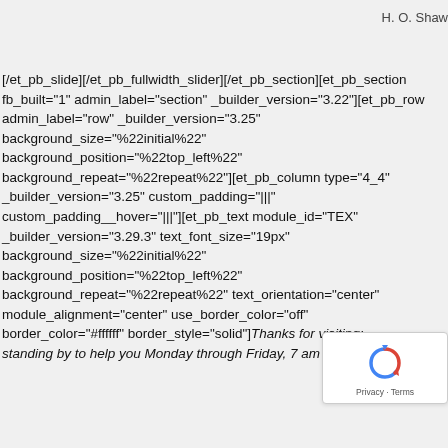H. O. Shaw
[/et_pb_slide][/et_pb_fullwidth_slider][/et_pb_section][et_pb_section fb_built="1" admin_label="section" _builder_version="3.22"][et_pb_row admin_label="row" _builder_version="3.25" background_size="%22initial%22" background_position="%22top_left%22" background_repeat="%22repeat%22"][et_pb_column type="4_4" _builder_version="3.25" custom_padding="|||" custom_padding__hover="|||"][et_pb_text module_id="TEX" _builder_version="3.29.3" text_font_size="19px" background_size="%22initial%22" background_position="%22top_left%22" background_repeat="%22repeat%22" text_orientation="center" module_alignment="center" use_border_color="off" border_color="#ffffff" border_style="solid"]Thanks for visiting; standing by to help you Monday through Friday, 7 am to 6 pm